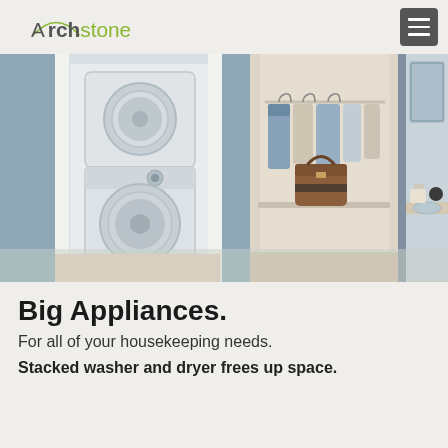Archstone
[Figure (photo): Interior apartment photo showing stacked washer and dryer unit in a white-framed closet on the left, a walk-in closet with hanging clothes and a brown bag in the center, a blue fabric panel divider, and a bathroom vanity on the right.]
Big Appliances.
For all of your housekeeping needs.
Stacked washer and dryer frees up space.